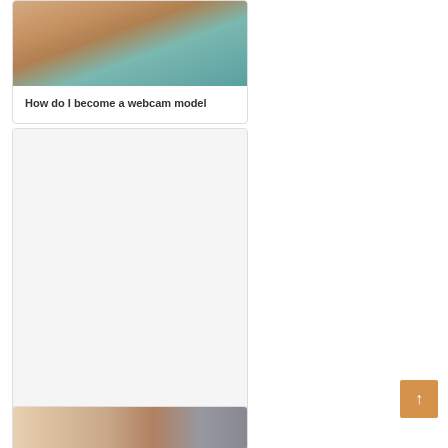[Figure (photo): Photo thumbnail showing skin tones with teal/green fabric background]
How do I become a webcam model
[Figure (photo): Large image placeholder area, mostly white/blank]
Best Adult Webcam Sites 2017 Top 5 Tested
[Figure (photo): Partial photo thumbnail at bottom, showing interior scene with warm tones]